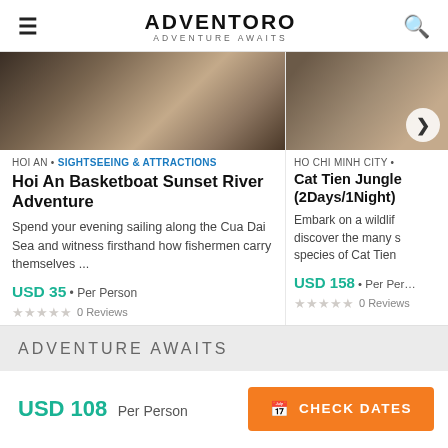ADVENTORO ADVENTURE AWAITS
[Figure (photo): Blurred brown-toned image of a river or outdoor scene for card 1]
HOI AN • SIGHTSEEING & ATTRACTIONS
Hoi An Basketboat Sunset River Adventure
Spend your evening sailing along the Cua Dai Sea and witness firsthand how fishermen carry themselves ...
USD 35 • Per Person
0 Reviews
[Figure (photo): Blurred brown-toned outdoor image for card 2, partially visible]
HO CHI MINH CITY •
Cat Tien Jungle (2Days/1Night)
Embark on a wildlife discover the many species of Cat Tien
USD 158 • Per Person
0 Reviews
ADVENTURE AWAITS
USD 108  Per Person
CHECK DATES